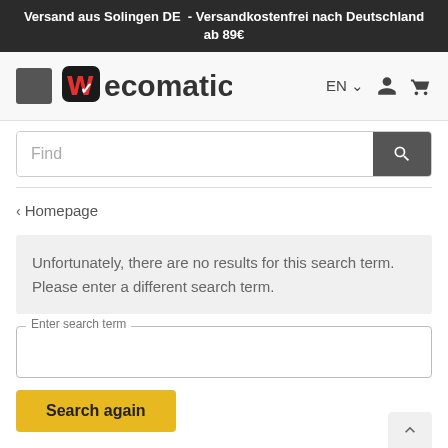Versand aus Solingen DE  - Versandkostenfrei nach Deutschland ab 89€
[Figure (logo): Wecomatic logo with stylized W in dark rounded square and text 'ecomatic']
Find
‹ Homepage
Unfortunately, there are no results for this search term. Please enter a different search term.
Enter search term
Search again